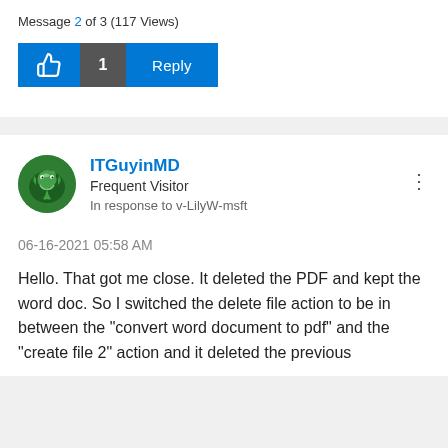Message 2 of 3 (117 Views)
[Figure (screenshot): Like button with thumbs up icon, count badge showing 1, and blue Reply button]
[Figure (illustration): Green circular avatar with dragon/lizard illustration for user ITGuyinMD]
ITGuyinMD
Frequent Visitor
In response to v-LilyW-msft
06-16-2021 05:58 AM
Hello. That got me close. It deleted the PDF and kept the word doc. So I switched the delete file action to be in between the "convert word document to pdf" and the "create file 2" action and it deleted the previous word doc and created with the "create file" action